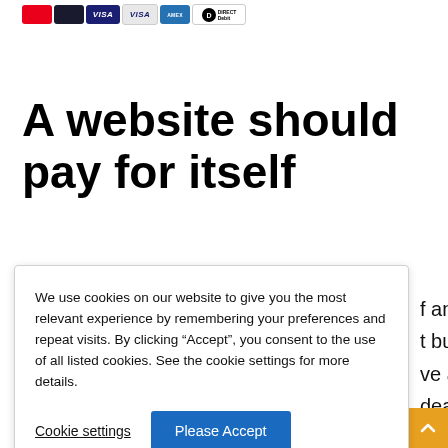[Figure (illustration): Row of payment method icons: Mastercard (red), Mastercard (dark), Visa (blue), Visa (light/classic), American Express, Direct Debit]
A website should pay for itself
We use cookies on our website to give you the most relevant experience by remembering your preferences and repeat visits. By clicking “Accept”, you consent to the use of all listed cookies. See the cookie settings for more details.
Cookie settings
Please Accept